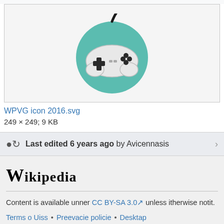[Figure (illustration): Game controller icon on a teal circular background — WPVG icon 2016.svg]
WPVG icon 2016.svg
249 × 249; 9 KB
Last edited 6 years ago by Avicennasis
Wikipedia
Content is available unner CC BY-SA 3.0 unless itherwise notit.
Terms o Uiss • Preevacie policie • Desktap